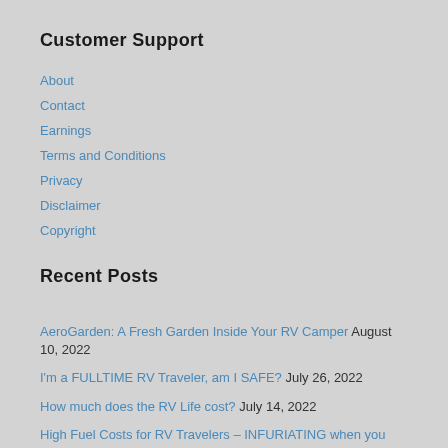Customer Support
About
Contact
Earnings
Terms and Conditions
Privacy
Disclaimer
Copyright
Recent Posts
AeroGarden: A Fresh Garden Inside Your RV Camper August 10, 2022
I'm a FULLTIME RV Traveler, am I SAFE? July 26, 2022
How much does the RV Life cost? July 14, 2022
High Fuel Costs for RV Travelers – INFURIATING when you hear this… July 9, 2022
Lets Talk WATER in your RV Camper – and – RV Water Filter